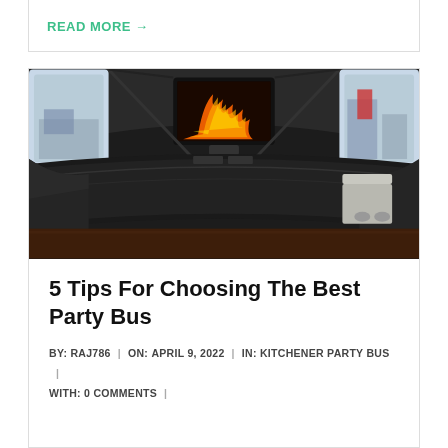READ MORE →
[Figure (photo): Interior of a party bus showing black leather wraparound seating, a ceiling-mounted flat screen TV displaying flames, and side windows revealing a parking lot outside]
5 Tips For Choosing The Best Party Bus
BY: RAJ786 | ON: APRIL 9, 2022 | IN: KITCHENER PARTY BUS | WITH: 0 COMMENTS |